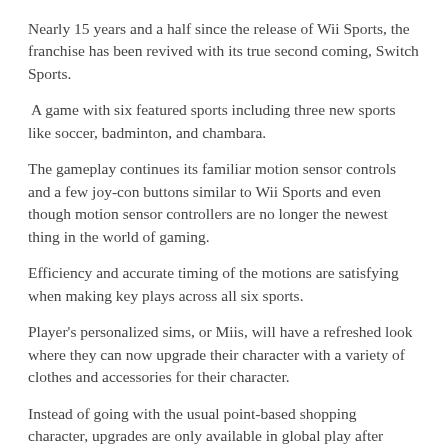Nearly 15 years and a half since the release of Wii Sports, the franchise has been revived with its true second coming, Switch Sports.
A game with six featured sports including three new sports like soccer, badminton, and chambara.
The gameplay continues its familiar motion sensor controls and a few joy-con buttons similar to Wii Sports and even though motion sensor controllers are no longer the newest thing in the world of gaming.
Efficiency and accurate timing of the motions are satisfying when making key plays across all six sports.
Player's personalized sims, or Miis, will have a refreshed look where they can now upgrade their character with a variety of clothes and accessories for their character.
Instead of going with the usual point-based shopping character, upgrades are only available in global play after every match. Items are only earned in sets that are available for a limited time before the prizes are refreshed to different accessories.